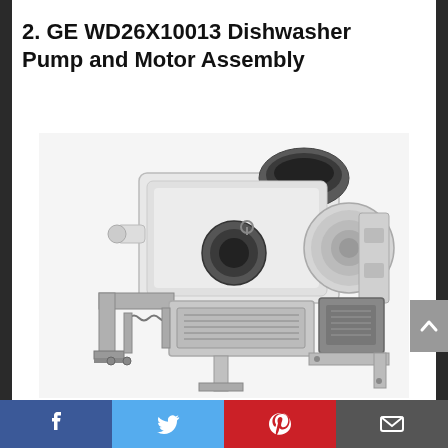2. GE WD26X10013 Dishwasher Pump and Motor Assembly
[Figure (photo): GE WD26X10013 Dishwasher Pump and Motor Assembly product photo showing a white and silver mechanical assembly with pump housing, motor, spring mechanism, and mounting brackets]